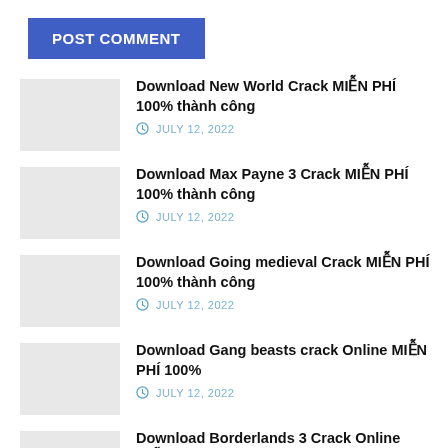POST COMMENT
Download New World Crack MIỄN PHÍ 100% thành công
JULY 12, 2022
Download Max Payne 3 Crack MIỄN PHÍ 100% thành công
JULY 12, 2022
Download Going medieval Crack MIỄN PHÍ 100% thành công
JULY 12, 2022
Download Gang beasts crack Online MIỄN PHÍ 100%
JULY 12, 2022
Download Borderlands 3 Crack Online MIỄN PHÍ